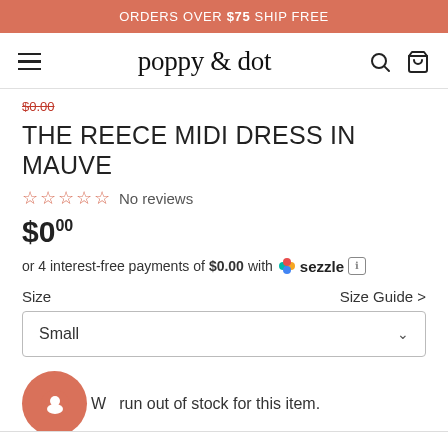ORDERS OVER $75 SHIP FREE
poppy & dot
THE REECE MIDI DRESS IN MAUVE
No reviews
$0.00
or 4 interest-free payments of $0.00 with sezzle
Size  Size Guide >
Small
We run out of stock for this item.